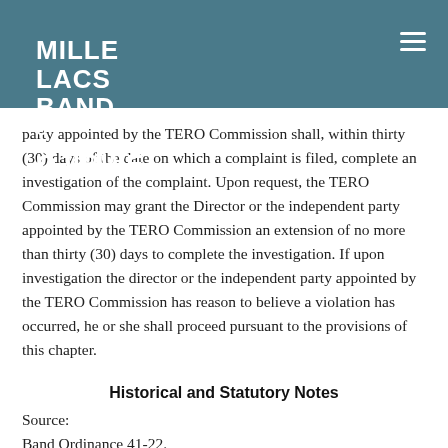MILLE LACS BAND OF OJIBWE
complaint, and on a regular basis thereafter, the director or the independent party appointed by the TERO Commission shall provide the complaining party with a written report on the status of the complaint. The director or the independent party appointed by the TERO Commission shall, within thirty (30) days of the date on which a complaint is filed, complete an investigation of the complaint. Upon request, the TERO Commission may grant the Director or the independent party appointed by the TERO Commission an extension of no more than thirty (30) days to complete the investigation. If upon investigation the director or the independent party appointed by the TERO Commission has reason to believe a violation has occurred, he or she shall proceed pursuant to the provisions of this chapter.
Historical and Statutory Notes
Source:
Band Ordinance 41-22.
§ 1094. Complaints Against the Band